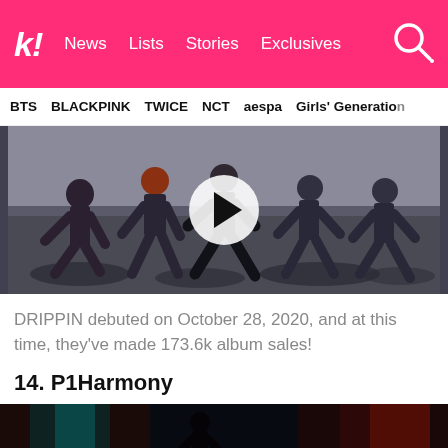k! News Lists Stories Exclusives
BTS BLACKPINK TWICE NCT aespa Girls' Generation
[Figure (screenshot): Video thumbnail of DRIPPIN dance practice with play button overlay, showing group of male K-pop artists in dark outfits performing in a studio]
DRIPPIN debuted on October 28, 2020, and at this time, they've made 173.6k album sales!
14. P1Harmony
[Figure (screenshot): Dark-toned image preview of P1Harmony, showing figures in a dimly lit alleyway with red and teal lighting]